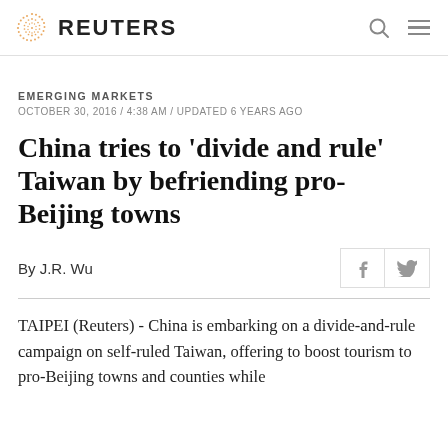REUTERS
EMERGING MARKETS
OCTOBER 30, 2016 / 4:38 AM / UPDATED 6 YEARS AGO
China tries to 'divide and rule' Taiwan by befriending pro-Beijing towns
By J.R. Wu
TAIPEI (Reuters) - China is embarking on a divide-and-rule campaign on self-ruled Taiwan, offering to boost tourism to pro-Beijing towns and counties while